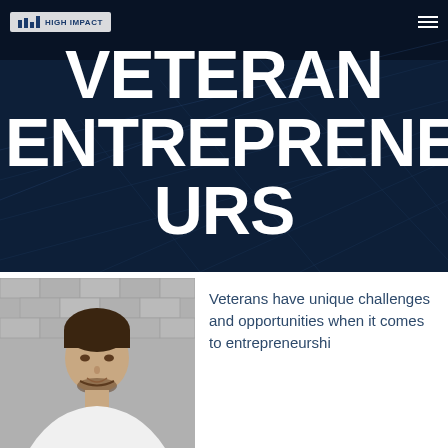[Figure (screenshot): Hero banner with dark navy blue background featuring a tech/grid pattern. Contains a navigation bar with the High Impact logo on the left and a hamburger menu icon on the right. Large bold white uppercase text reads 'VETERAN ENTREPRENEURS' spanning three visual lines.]
[Figure (photo): Headshot of a young man with dark hair and a beard, smiling, wearing a white shirt, photographed against a grey brick wall background.]
Veterans have unique challenges and opportunities when it comes to entrepreneurshi